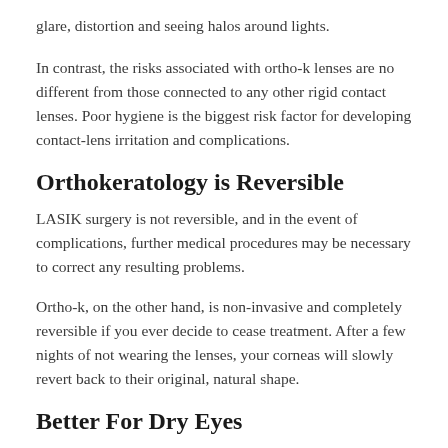glare, distortion and seeing halos around lights.
In contrast, the risks associated with ortho-k lenses are no different from those connected to any other rigid contact lenses. Poor hygiene is the biggest risk factor for developing contact-lens irritation and complications.
Orthokeratology is Reversible
LASIK surgery is not reversible, and in the event of complications, further medical procedures may be necessary to correct any resulting problems.
Ortho-k, on the other hand, is non-invasive and completely reversible if you ever decide to cease treatment. After a few nights of not wearing the lenses, your corneas will slowly revert back to their original, natural shape.
Better For Dry Eyes